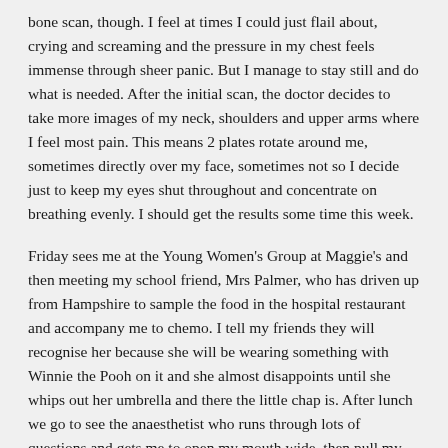bone scan, though. I feel at times I could just flail about, crying and screaming and the pressure in my chest feels immense through sheer panic. But I manage to stay still and do what is needed. After the initial scan, the doctor decides to take more images of my neck, shoulders and upper arms where I feel most pain. This means 2 plates rotate around me, sometimes directly over my face, sometimes not so I decide just to keep my eyes shut throughout and concentrate on breathing evenly. I should get the results some time this week.
Friday sees me at the Young Women's Group at Maggie's and then meeting my school friend, Mrs Palmer, who has driven up from Hampshire to sample the food in the hospital restaurant and accompany me to chemo. I tell my friends they will recognise her because she will be wearing something with Winnie the Pooh on it and she almost disappoints until she whips out her umbrella and there the little chap is. After lunch we go to see the anaesthetist who runs through lots of questions and gets me to open my mouth wide, then pull my bottom teeth over my top lip before finally making me turn my head from side to side and up and down. I ask her if she can tell me anything about the operation to which she says "No" very firmly. She just does the Knocking Out. We see Joyce on the way out and she gives me a sticker to